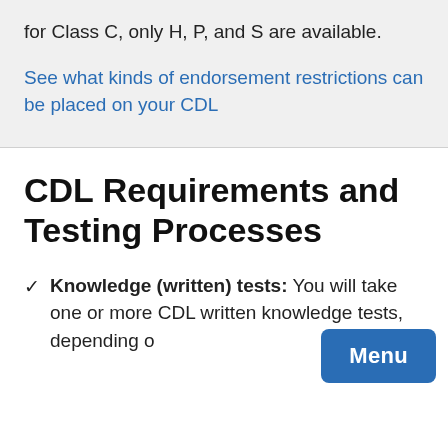for Class C, only H, P, and S are available.
See what kinds of endorsement restrictions can be placed on your CDL
CDL Requirements and Testing Processes
Knowledge (written) tests: You will take one or more CDL written knowledge tests, depending o...